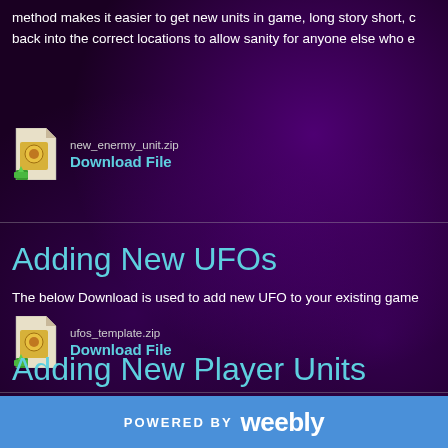method makes it easier to get new units in game, long story short, c back into the correct locations to allow sanity for anyone else who e
[Figure (other): Download icon for new_enermy_unit.zip with file name and Download File link]
Adding New UFOs
The below Download is used to add new UFO to your existing game
[Figure (other): Download icon for ufos_template.zip with file name and Download File link]
Adding New Player Units
POWERED BY weebly